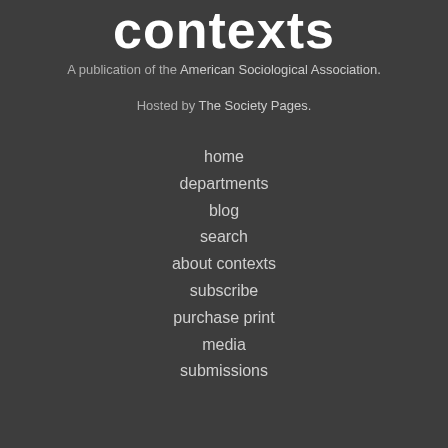contexts
A publication of the American Sociological Association.
Hosted by The Society Pages.
home
departments
blog
search
about contexts
subscribe
purchase print
media
submissions